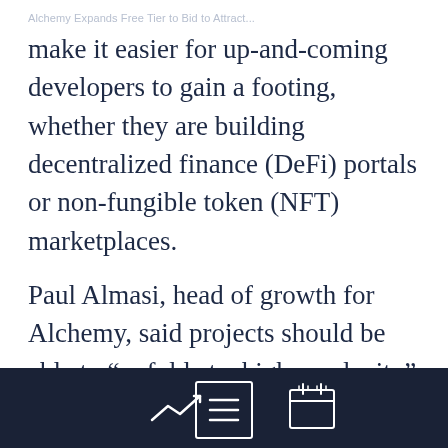Alchemy Expands Free Tier to Bid to Attract...
make it easier for up-and-coming developers to gain a footing, whether they are building decentralized finance (DeFi) portals or non-fungible token (NFT) marketplaces.
Paul Almasi, head of growth for Alchemy, said projects should be able to “unfold at a higher velocity” with more easy access to developer services.
In the long term, those free-tier customers could end up growing, and paying Alchemy,
[Figure (infographic): Bottom navigation bar with three icons on dark navy background: a trending-up chart icon on the left, a hamburger menu icon (three horizontal lines) in the center with a white border box, and a calendar icon on the right.]